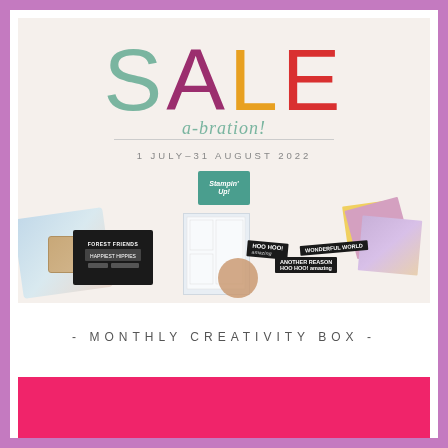[Figure (photo): Sale-a-bration promotional banner for Stampin' Up! showing colorful SALE text, a-bration subtitle, date 1 July-31 August 2022, Stampin' Up! logo, and crafting products including stamps, ink pads, papers, and floral patterned items arranged at the bottom]
- MONTHLY CREATIVITY BOX -
[Figure (illustration): Solid hot pink/magenta rectangle bar at the bottom of the page]